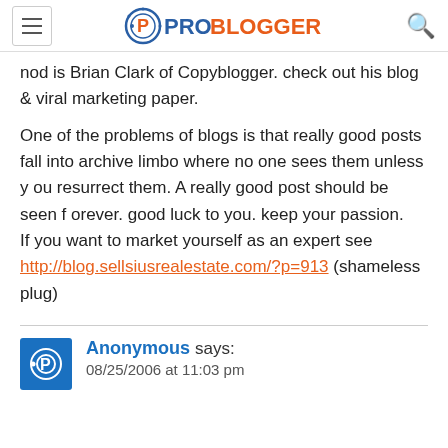ProBlogger
nod is Brian Clark of Copyblogger. check out his blog & viral marketing paper.
One of the problems of blogs is that really good posts fall into archive limbo where no one sees them unless you resurrect them. A really good post should be seen forever. good luck to you. keep your passion.
If you want to market yourself as an expert see http://blog.sellsiusrealestate.com/?p=913 (shameless plug)
Anonymous says:
08/25/2006 at 11:03 pm